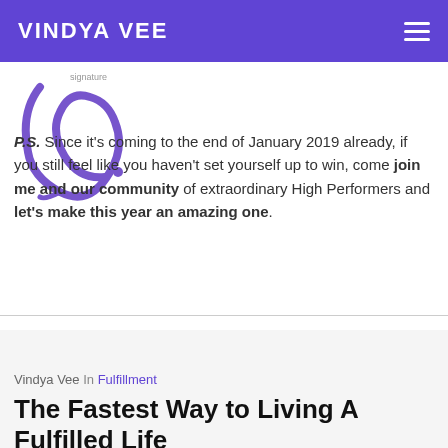VINDYA VEE
[Figure (illustration): Cursive signature/logo mark in purple and gray]
P.S. Since it's coming to the end of January 2019 already, if you still feel like you haven't set yourself up to win, come join me and our community of extraordinary High Performers and let's make this year an amazing one.
Vindya Vee In Fulfillment
The Fastest Way to Living A Fulfilled Life